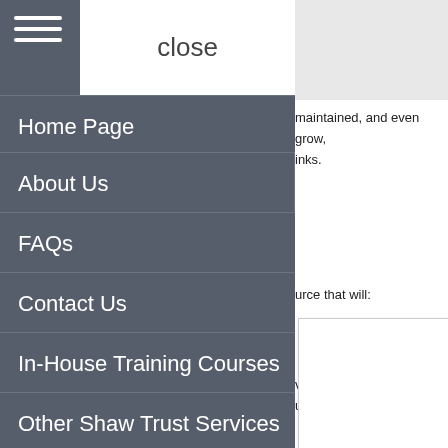[Figure (screenshot): Mobile navigation overlay menu on a website showing hamburger icon, close button, and menu items: Home Page, About Us, FAQs, Contact Us, In-House Training Courses, Other Shaw Trust Services. Behind the overlay, partial website text is visible on the right side.]
Home Page
About Us
FAQs
Contact Us
In-House Training Courses
Other Shaw Trust Services
maintained, and even grow, inks.
urce that will:
vices. By using use of cookies. ve ICT
of ICT ephony
plement cost-effective and l. It will ensure that you r your school and provide
at will enable you to: